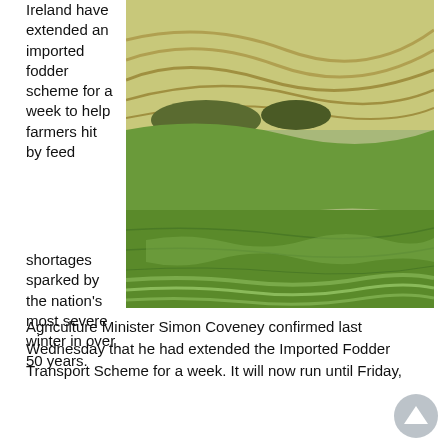Ireland have extended an imported fodder scheme for a week to help farmers hit by feed shortages sparked by the nation's most severe winter in over 50 years.
[Figure (photo): Aerial or ground-level photo of rolling green Irish farmland/hillside with mown grass patterns and curved contour lines visible across the slopes.]
Agriculture Minister Simon Coveney confirmed last Wednesday that he had extended the Imported Fodder Transport Scheme for a week. It will now run until Friday,